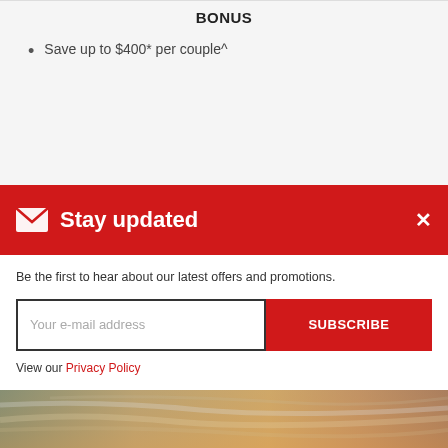BONUS
Save up to $400* per couple^
Stay updated
Be the first to hear about our latest offers and promotions.
Your e-mail address
SUBSCRIBE
View our Privacy Policy
[Figure (photo): Sunset sky with warm orange and muted teal tones]